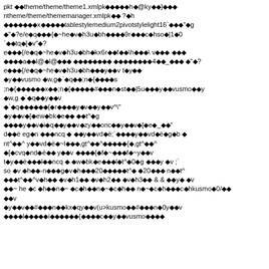pkt theme/theme/theme1.xmlpk◆◆◆◆h◆@ky◆n}◆◆◆ ntheme/theme/thememanager.xmlpk◆◆ ?◆h ◆◆◆◆◆◆x◆◆◆◆tablestylemedium2pivotstylelight16`◆◆◆"◆g ◆"◆?e/e◆q◆◆◆{ ◆~he◆v◆h3u◆bh◆◆◆◆9r◆◆◆c◆hso◆|1◆0 `◆◆tq◆[◆v"◆? e◆◆◆{ /e◆q◆~he◆v◆h3u◆bh◆kx6r◆◆f◆◆\h◆◆◆\ v◆◆◆ ◆◆◆ ◆◆◆◆a◆◆l@◆l@◆◆◆ ◆◆◆◆◆◆◆◆◆◆◆◆◆◆4◆◆_◆◆◆ ◆"◆? e◆◆◆{ /e◆q◆~he◆v◆h3u◆bh◆◆◆y◆◆v t◆y◆◆ ◆y◆◆vusmo ◆w,g◆`◆q◆◆;n◆{ ◆◆◆◆s ;n◆{ ◆◆◆◆◆◆x◆◆;n◆{ ◆◆◆◆◆#◆◆◆n◆st◆◆|5u◆◆◆y◆◆vusmo◆◆y ◆w,g ◆`◆q◆◆y◆◆v ◆`◆q◆◆◆◆◆◆{ ◆r◆◆◆◆y◆v◆◆y◆◆v^\" ◆y◆◆v◆[◆ew◆bk◆e◆◆ ◆◆t^◆g ◆◆◆◆y◆◆v◆i◆q◆◆y◆◆v◆zy◆◆onc◆◆y◆◆v◆[◆e◆_◆◆" d◆◆ë eg◆n ◆◆◆ncq ◆ ◆◆y◆◆vd◆ë;` ◆◆◆◆y◆◆vd◆ë◆g◆b ◆ nt^◆◆^ y◆◆vd◆ë◆~l◆◆◆,gt^◆◆^◆◆◆◆◆{ ◆,gt^◆◆^ ◆[◆cvq◆nd◆ë◆◆ y◆◆v ◆◆◆◆{◆f◆~◆◆◆f◆~y◆◆v t◆y◆◆ë◆◆◆l◆◆ncq ◆ ◆w◆bk◆e◆◆◆l◆t^◆0◆g ◆◆◆y ◆v ;` so ◆v ◆h◆◆-n◆◆◆g◆v◆h◆◆◆20◆◆◆◆◆t^◆ ◆20◆◆◆ n◆◆t^ ◆◆◆t^◆◆^v◆h◆◆ ◆v◆h1◆◆ ◆v◆h2◆◆ ◆v◆h3◆◆ & & ◆◆y◆ ◆v ◆◆~ he ◆c ◆h◆◆n◆~ ◆c◆h◆◆n◆~◆c◆h◆◆ n◆~◆c◆h◆◆◆c◆hkusmo◆0/◆◆ ◆◆v ◆y◆◆v◆◆#◆◆◆n◆◆kx◆qy◆◆v(u>kusmo◆◆#◆◆◆n◆0y◆◆v ◆◆◆◆l◆◆◆◆◆i◆◆◆◆◆◆{ ◆◆◆◆c◆◆y◆◆vusmo◆◆◆◆